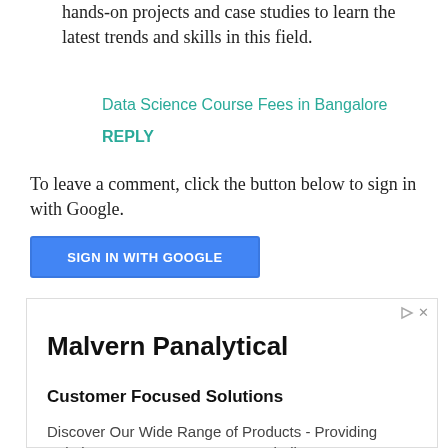hands-on projects and case studies to learn the latest trends and skills in this field.
Data Science Course Fees in Bangalore
REPLY
To leave a comment, click the button below to sign in with Google.
SIGN IN WITH GOOGLE
[Figure (other): Advertisement box for Malvern Panalytical with title 'Malvern Panalytical', subtitle 'Customer Focused Solutions', body text 'Discover Our Wide Range of Products - Providing Solutions To Your Measurement Challenges', and URL 'malvernpanalytical.com']